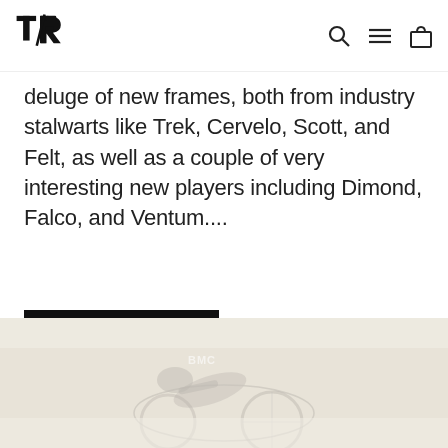TR logo with navigation icons (search, menu, cart)
deluge of new frames, both from industry stalwarts like Trek, Cervelo, Scott, and Felt, as well as a couple of very interesting new players including Dimond, Falco, and Ventum....
CONTINUE READING
[Figure (photo): Faded background photo of a cyclist on a triathlon/time trial bike, low contrast sepia-toned image]